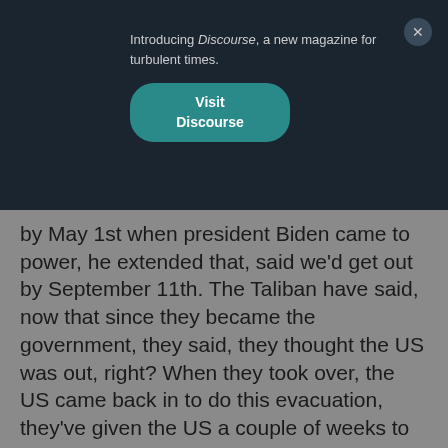Introducing Discourse, a new magazine for turbulent times.
Visit Discourse
by May 1st when president Biden came to power, he extended that, said we'd get out by September 11th. The Taliban have said, now that since they became the government, they said, they thought the US was out, right? When they took over, the US came back in to do this evacuation, they've given the US a couple of weeks to do it. I think my understanding is the Taliban are not going to extend that deadline. That's going to be really hard because, the US now has 7,000 people in Afghanistan. It's going to take time to evacuate those people at the expense of the Afghans who were desperately